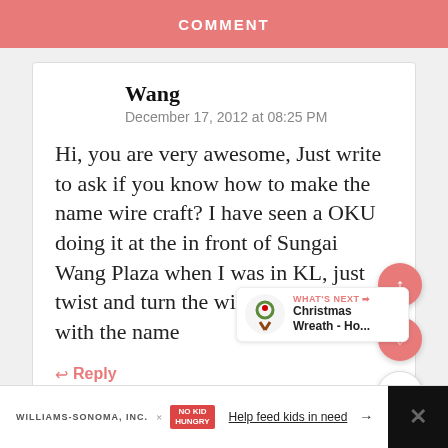COMMENT
Wang
December 17, 2012 at 08:25 PM
Hi, you are very awesome, Just write to ask if you know how to make the name wire craft? I have seen a OKU doing it at the in front of Sungai Wang Plaza when I was in KL, just twist and turn the wire and come out with the name
Reply
WHAT'S NEXT → Christmas Wreath - Ho...
WILLIAMS-SONOMA, INC. × NO KID HUNGRY  Help feed kids in need →